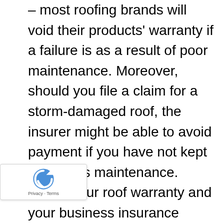– most roofing brands will void their products' warranty if a failure is as a result of poor maintenance. Moreover, should you file a claim for a storm-damaged roof, the insurer might be able to avoid payment if you have not kept up with its maintenance. Check your roof warranty and your business insurance coverage to be sure you understand your obligations for keeping the roof in good condition.
Lower risk factors – with regular care of your roof, any equipment you maintain on the roof is regularly checked, helping to make sure that malfunctions due to damage or debris are less likely. This also creates a safer working environment for your...